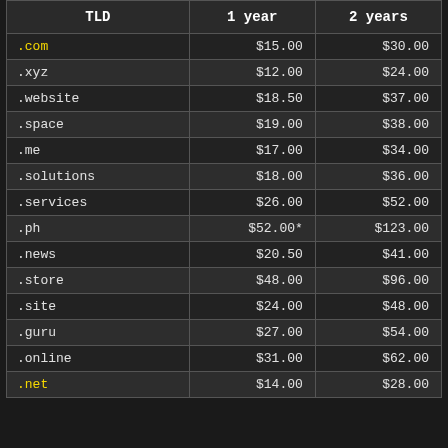| TLD | 1 year | 2 years |
| --- | --- | --- |
| .com | $15.00 | $30.00 |
| .xyz | $12.00 | $24.00 |
| .website | $18.50 | $37.00 |
| .space | $19.00 | $38.00 |
| .me | $17.00 | $34.00 |
| .solutions | $18.00 | $36.00 |
| .services | $26.00 | $52.00 |
| .ph | $52.00* | $123.00 |
| .news | $20.50 | $41.00 |
| .store | $48.00 | $96.00 |
| .site | $24.00 | $48.00 |
| .guru | $27.00 | $54.00 |
| .online | $31.00 | $62.00 |
| .net | $14.00 | $28.00 |